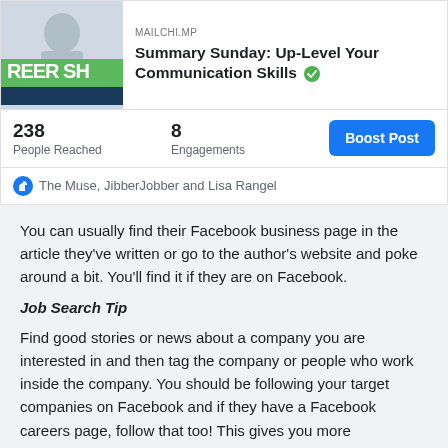[Figure (screenshot): Facebook post card showing a Career Sherpa book cover thumbnail with green and dark blue colors, source label MAILCHI.MP, and title 'Summary Sunday: Up-Level Your Communication Skills' with a green verified checkmark]
238 People Reached
8 Engagements
Boost Post
The Muse, JibberJobber and Lisa Rangel
You can usually find their Facebook business page in the article they've written or go to the author's website and poke around a bit. You'll find it if they are on Facebook.
Job Search Tip
Find good stories or news about a company you are interested in and then tag the company or people who work inside the company. You should be following your target companies on Facebook and if they have a Facebook careers page, follow that too! This gives you more opportunities to comment and engage.